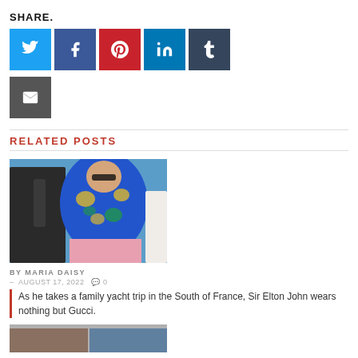SHARE.
[Figure (infographic): Row of social share buttons: Twitter (blue), Facebook (dark blue), Pinterest (red), LinkedIn (light blue), Tumblr (dark blue-grey), and Email (dark grey).]
RELATED POSTS
[Figure (photo): Photo of a man wearing a blue Hawaiian shirt with yellow floral print and sunglasses, outdoors with blue background.]
BY MARIA DAISY
– AUGUST 17, 2022  0
As he takes a family yacht trip in the South of France, Sir Elton John wears nothing but Gucci.
[Figure (photo): Partial photo visible at bottom of page, appears to show people, cropped.]